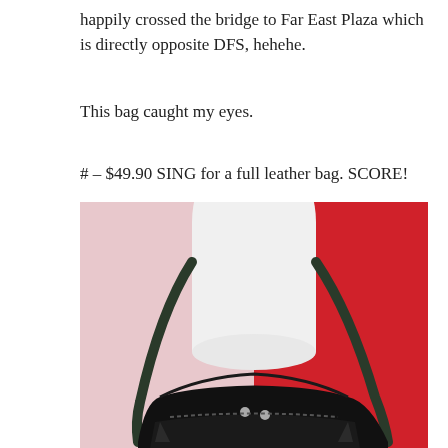happily crossed the bridge to Far East Plaza which is directly opposite DFS, hehehe.
This bag caught my eyes.
# – $49.90 SING for a full leather bag. SCORE!
[Figure (photo): A black leather handbag with a shoulder strap displayed on a white mannequin form against a two-tone background (light pink on left, red on right). The bag is black suede/leather with silver hardware and a drawstring/zip closure.]